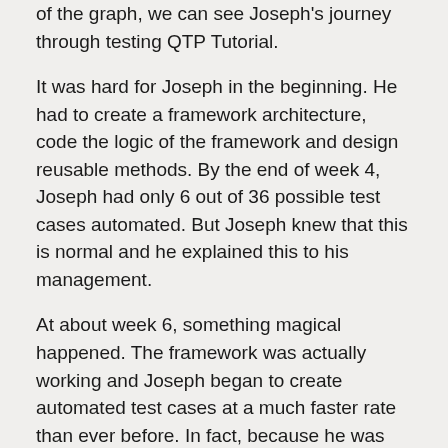of the graph, we can see Joseph's journey through testing QTP Tutorial.
It was hard for Joseph in the beginning. He had to create a framework architecture, code the logic of the framework and design reusable methods. By the end of week 4, Joseph had only 6 out of 36 possible test cases automated. But Joseph knew that this is normal and he explained this to his management.
At about week 6, something magical happened. The framework was actually working and Joseph began to create automated test cases at a much faster rate than ever before. In fact, because he was creating reusable methods, every new automated test case helped to make his framework much more efficient. By the end of week 13, Joseph's number of automated test cases surpassed those created by Lynda.
For the end of week 70, automated test...